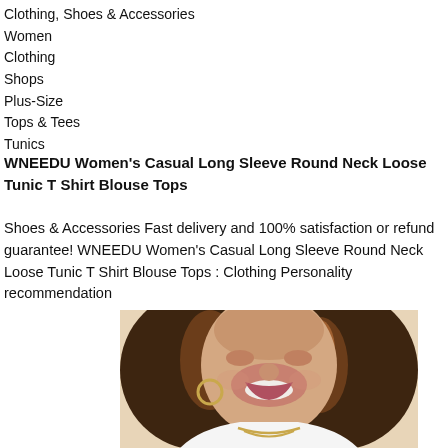Clothing, Shoes & Accessories
Women
Clothing
Shops
Plus-Size
Tops & Tees
Tunics
WNEEDU Women's Casual Long Sleeve Round Neck Loose Tunic T Shirt Blouse Tops
Shoes & Accessories Fast delivery and 100% satisfaction or refund guarantee! WNEEDU Women's Casual Long Sleeve Round Neck Loose Tunic T Shirt Blouse Tops : Clothing Personality recommendation
[Figure (photo): Close-up photo of a smiling woman with brown wavy hair wearing a white top and gold hoop earrings and gold chain necklace]